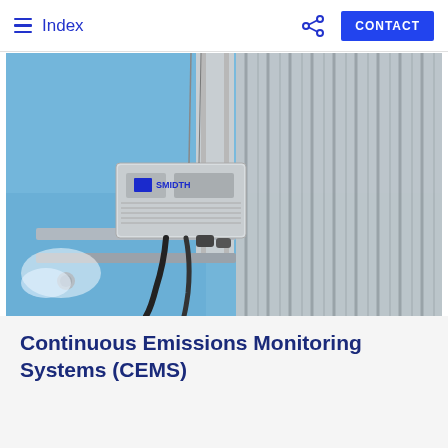Index | CONTACT
[Figure (photo): Close-up photograph looking up at an FLSmidth industrial emissions monitoring device mounted on a metal bracket against a corrugated metal building wall, with blue sky in the background.]
Continuous Emissions Monitoring Systems (CEMS)